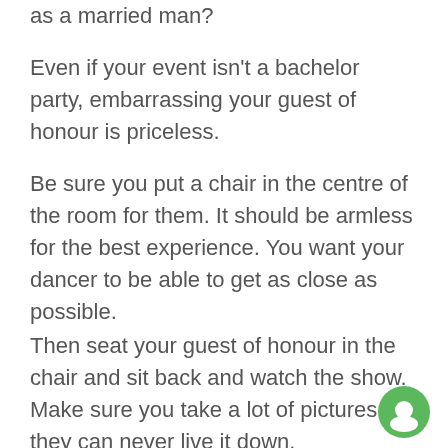as a married man?
Even if your event isn't a bachelor party, embarrassing your guest of honour is priceless.
Be sure you put a chair in the centre of the room for them. It should be armless for the best experience. You want your dancer to be able to get as close as possible.
Then seat your guest of honour in the chair and sit back and watch the show. Make sure you take a lot of pictures so they can never live it down.